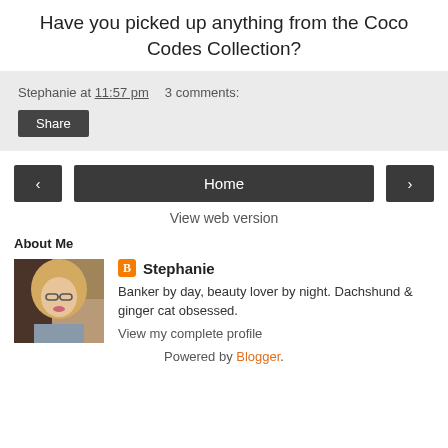Have you picked up anything from the Coco Codes Collection?
Stephanie at 11:57 pm   3 comments:
Share
‹   Home   ›
View web version
About Me
[Figure (photo): Profile photo of Stephanie, a woman with blonde hair and glasses]
Stephanie
Banker by day, beauty lover by night. Dachshund & ginger cat obsessed.
View my complete profile
Powered by Blogger.